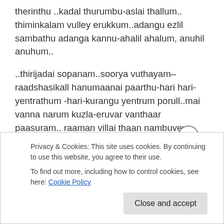therinthu ..kadal thurumbu-aslai thallum.. thiminkalam vulley erukkum..adangu ezlil sambathu adanga kannu-ahalil ahalum, anuhil anuhum..
..thirijadai sopanam..soorya vuthayam–raadshasikall hanumaanai paarthu-hari hari-yentrathum -hari-kurangu yentrum porull..mai vanna narum kuzla-eruvar vanthaar paasuram.. raaman villai thaan nambuveyn yenkiraall..paiya thuyintra paraman-thoongum pothum paraman..soodaa manni-thanthaall. naam thiru adi thozluthu -adi keezl amarnthu puhuntheyney
Privacy & Cookies: This site uses cookies. By continuing to use this website, you agree to their use.
To find out more, including how to control cookies, see here: Cookie Policy
Close and accept